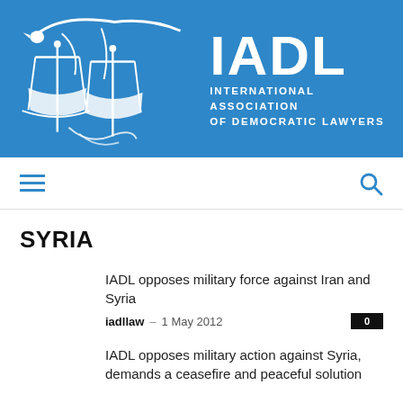[Figure (logo): IADL logo with scales of justice and bird, on blue background. Text: IADL, INTERNATIONAL ASSOCIATION OF DEMOCRATIC LAWYERS]
Navigation bar with hamburger menu and search icon
SYRIA
IADL opposes military force against Iran and Syria
iadllaw – 1 May 2012   0
IADL opposes military action against Syria, demands a ceasefire and peaceful solution